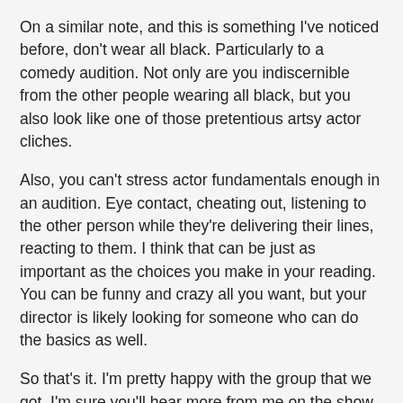On a similar note, and this is something I've noticed before, don't wear all black. Particularly to a comedy audition. Not only are you indiscernible from the other people wearing all black, but you also look like one of those pretentious artsy actor cliches.
Also, you can't stress actor fundamentals enough in an audition. Eye contact, cheating out, listening to the other person while they're delivering their lines, reacting to them. I think that can be just as important as the choices you make in your reading. You can be funny and crazy all you want, but your director is likely looking for someone who can do the basics as well.
So that's it. I'm pretty happy with the group that we got. I'm sure you'll hear more from me on the show over the next two months so get ready for that.
Unknown at 10:30 AM    2 comments:
Share